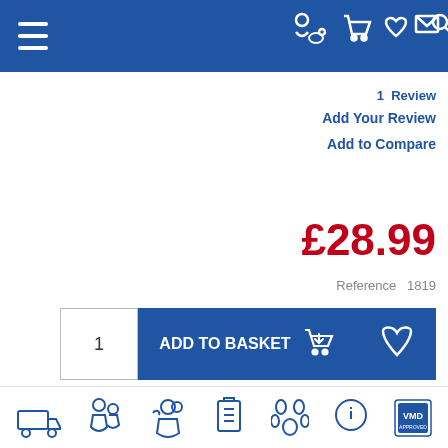[Figure (screenshot): Top navigation bar with hamburger menu and icons (person with dog, cart, heart, envelope, search)]
1  Review
Add Your Review
Add to Compare
£28.99
Reference   1819
1
ADD TO BASKET
DESCRIPTION
PROPERTIES
PACKAGING
COMPOSITION
[Figure (screenshot): Bottom icon bar with delivery truck, person icons, clipboard, paw print, info circle, and VMD logo badge]